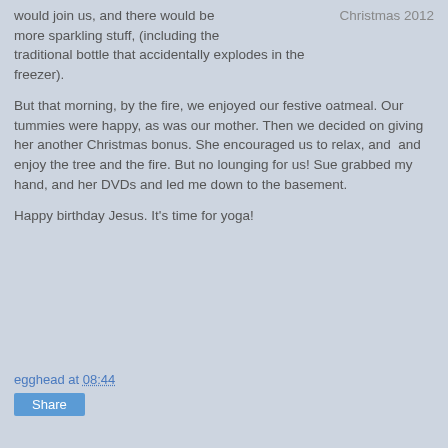would join us, and there would be more sparkling stuff, (including the traditional bottle that accidentally explodes in the freezer).
Christmas 2012
But that morning, by the fire, we enjoyed our festive oatmeal. Our tummies were happy, as was our mother. Then we decided on giving her another Christmas bonus. She encouraged us to relax, and  and enjoy the tree and the fire. But no lounging for us! Sue grabbed my hand, and her DVDs and led me down to the basement.
Happy birthday Jesus. It's time for yoga!
egghead at 08:44